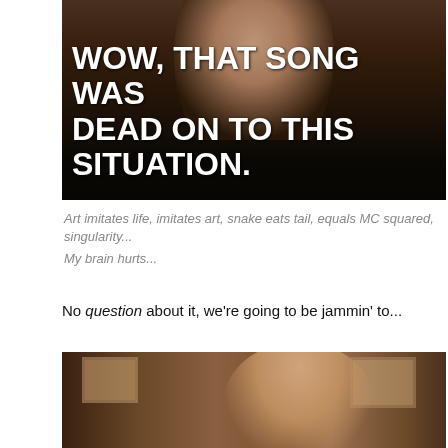[Figure (screenshot): TV show screenshot of a woman in a dark setting with bold white subtitle text overlay reading: WOW, THAT SONG WAS DEAD ON TO THIS SITUATION.]
Art imitates life, imitates art, snake eats tail, equals MC squared, singularity...
My brain hurts...
No question about it, we're going to be jammin' to...
[Figure (screenshot): TV show screenshot of a woman in a warm-toned indoor setting, raising her hand, appearing to speak.]